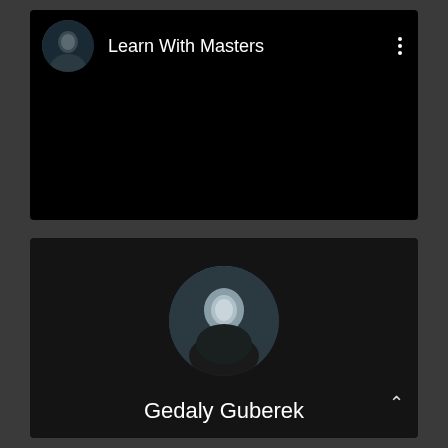[Figure (screenshot): Top video card showing 'Learn With Masters' YouTube channel with avatar and three-dot menu]
Learn With Masters
[Figure (screenshot): Bottom card showing circular profile photo of a young man and the name Gedaly Guberek]
Gedaly Guberek